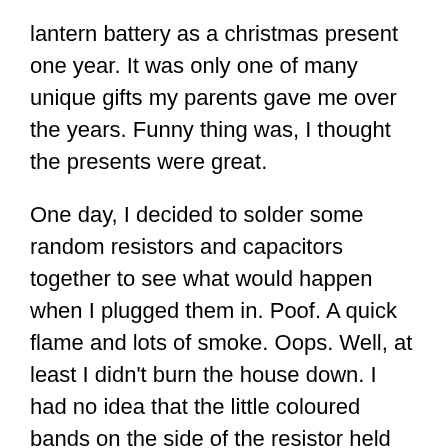lantern battery as a christmas present one year. It was only one of many unique gifts my parents gave me over the years. Funny thing was, I thought the presents were great.
One day, I decided to solder some random resistors and capacitors together to see what would happen when I plugged them in. Poof. A quick flame and lots of smoke. Oops. Well, at least I didn't burn the house down. I had no idea that the little coloured bands on the side of the resistor held any relevant information. Nor did I grasp the concept of what a capacitor did. I just took what I thought were relevant parts and assembled them in a way that I thought would work.
For many of my English language students, writing works in the same way. They often piece together formulaic